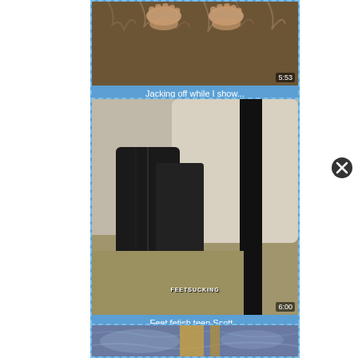[Figure (screenshot): Video thumbnail card 1: feet visible on furry surface, time badge 5:53, label 'Jacking off while I show...']
[Figure (screenshot): Video thumbnail card 2: person in black jeans gripping fabric, FeetSucking watermark, time badge 6:00, label 'Feet fetish teen Scott...']
[Figure (screenshot): Video thumbnail card 3: close-up of jeans/lap area with wooden chair, partially visible]
[Figure (illustration): Close button (X in circle) on right side of page]